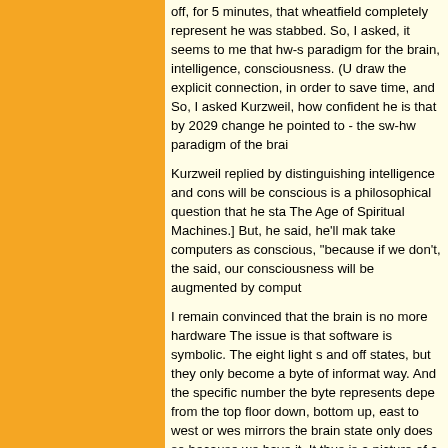off, for 5 minutes, that wheatfield completely represent he was stabbed. So, I asked, it seems to me that hw-s paradigm for the brain, intelligence, consciousness. (U draw the explicit connection, in order to save time, an So, I asked Kurzweil, how confident he is that by 2029 change he pointed to - the sw-hw paradigm of the brai
Kurzweil replied by distinguishing intelligence and con will be conscious is a philosophical question that he st The Age of Spiritual Machines.] But, he said, he'll mak take computers as conscious, "because if we don't, th said, our consciousness will be augmented by comput
I remain convinced that the brain is no more hardware The issue is that software is symbolic. The eight light s and off states, but they only become a byte of informat way. And the specific number the byte represents dep from the top floor down, bottom up, east to west or we mirrors the brain state only does so because we have it. It thus is a picture of a brain but is not a thinking ma anyway
Killer soundbyte from Kurzweil: The genomic infor million bytes of compressed data, "smaller than Mi
10/18/2002 11:06:02 AM | PermaLink
At PopTech
I'm at PopTech in purposefully picturesque Camden, M the official opening. I'm sitting next to Ernie the Attorne a delightful dinner party last night. I drove up with Pito also got to talk with people like Howard Rheingold, Da